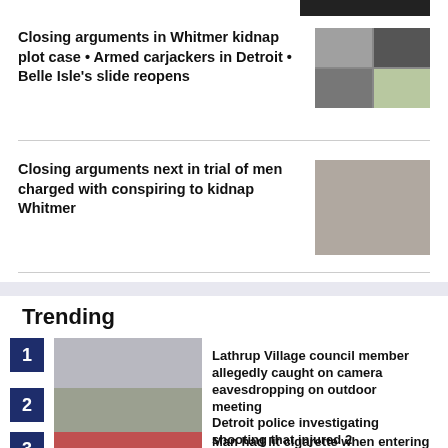Closing arguments in Whitmer kidnap plot case • Armed carjackers in Detroit • Belle Isle's slide reopens
[Figure (photo): Grid of 4 news thumbnail photos]
Closing arguments next in trial of men charged with conspiring to kidnap Whitmer
[Figure (photo): Mugshot photos of two men side by side]
Trending
Lathrup Village council member allegedly caught on camera eavesdropping on outdoor meeting
[Figure (photo): Blurry outdoor photo]
Detroit police investigating shooting that injured 2
[Figure (photo): Blurry outdoor scene photo]
Man had lit cigarette when entering